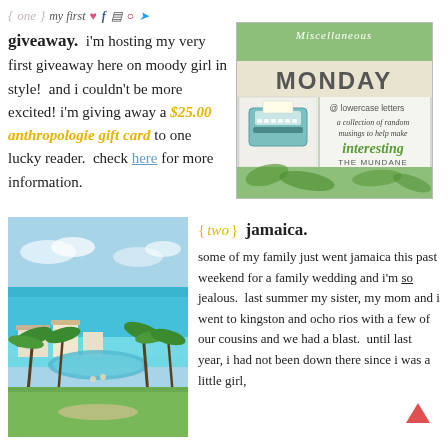{one} my first ♥ f 📷  Pinterest Twitter
giveaway. i'm hosting my very first giveaway here on moody girl in style! and i couldn't be more excited! i'm giving away a $25.00 anthropologie gift card to one lucky reader. check here for more information.
[Figure (illustration): Miscellaneous Monday @ lowercase letters badge — green and white design with vintage typewriter image, tagline 'a collection of random musings to help make interesting THE MUNDANE']
[Figure (photo): Aerial/resort view of Jamaica coastline with turquoise water, palm trees, and a pool]
{two} jamaica. some of my family just went jamaica this past weekend for a family wedding and i'm so jealous. last summer my sister, my mom and i went to kingston and ocho rios with a few of our cousins and we had a blast. until last year, i had not been down there since i was a little girl,